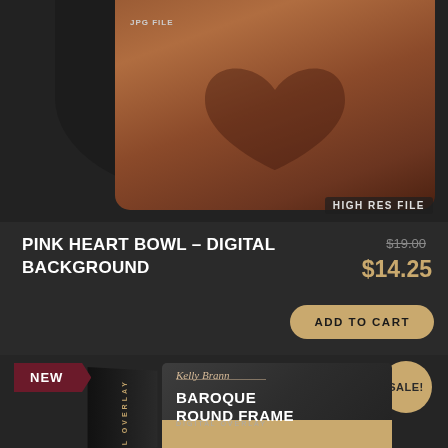[Figure (photo): Top portion of a product image showing a pink/brown heart bowl digital background with JPG FILE and HIGH RES FILE labels]
PINK HEART BOWL – DIGITAL BACKGROUND
$19.00 (strikethrough original price)
$14.25
ADD TO CART
[Figure (photo): NEW badge ribbon in dark red/maroon, and a product box for Baroque Round Frame digital overlay by Kelly Brann, with SALE! badge in tan/beige circle]